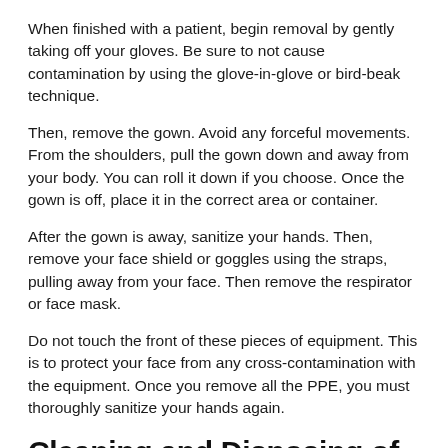When finished with a patient, begin removal by gently taking off your gloves. Be sure to not cause contamination by using the glove-in-glove or bird-beak technique.
Then, remove the gown. Avoid any forceful movements. From the shoulders, pull the gown down and away from your body. You can roll it down if you choose. Once the gown is off, place it in the correct area or container.
After the gown is away, sanitize your hands. Then, remove your face shield or goggles using the straps, pulling away from your face. Then remove the respirator or face mask.
Do not touch the front of these pieces of equipment. This is to protect your face from any cross-contamination with the equipment. Once you remove all the PPE, you must thoroughly sanitize your hands again.
Cleaning and Disposing of PPE